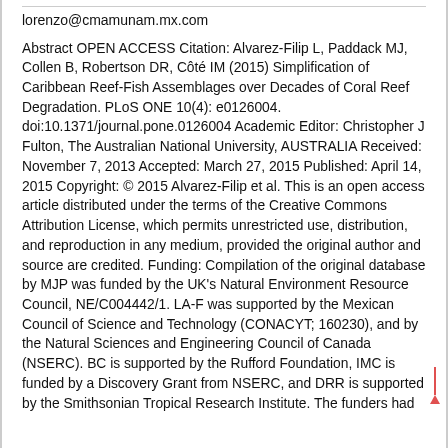lorenzo@cmamunam.mx.com
Abstract OPEN ACCESS Citation: Alvarez-Filip L, Paddack MJ, Collen B, Robertson DR, Côté IM (2015) Simplification of Caribbean Reef-Fish Assemblages over Decades of Coral Reef Degradation. PLoS ONE 10(4): e0126004. doi:10.1371/journal.pone.0126004 Academic Editor: Christopher J Fulton, The Australian National University, AUSTRALIA Received: November 7, 2013 Accepted: March 27, 2015 Published: April 14, 2015 Copyright: © 2015 Alvarez-Filip et al. This is an open access article distributed under the terms of the Creative Commons Attribution License, which permits unrestricted use, distribution, and reproduction in any medium, provided the original author and source are credited. Funding: Compilation of the original database by MJP was funded by the UK's Natural Environment Resource Council, NE/C004442/1. LA-F was supported by the Mexican Council of Science and Technology (CONACYT; 160230), and by the Natural Sciences and Engineering Council of Canada (NSERC). BC is supported by the Rufford Foundation, IMC is funded by a Discovery Grant from NSERC, and DRR is supported by the Smithsonian Tropical Research Institute. The funders had